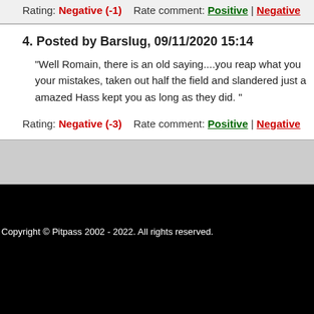Rating: Negative (-1)   Rate comment: Positive | Negative
4. Posted by Barslug, 09/11/2020 15:14
"Well Romain, there is an old saying....you reap what you your mistakes, taken out half the field and slandered just a amazed Hass kept you as long as they did. "
Rating: Negative (-3)   Rate comment: Positive | Negative
Copyright © Pitpass 2002 - 2022. All rights reserved.